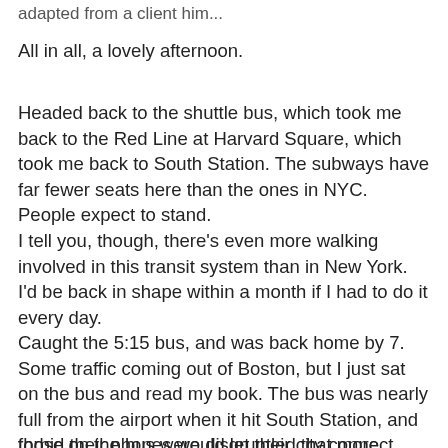adapted from a client him...
All in all, a lovely afternoon.
Headed back to the shuttle bus, which took me back to the Red Line at Harvard Square, which took me back to South Station. The subways have far fewer seats here than the ones in NYC. People expect to stand.
I tell you, though, there's even more walking involved in this transit system than in New York. I'd be back in shape within a month if I had to do it every day.
Caught the 5:15 bus, and was back home by 7. Some traffic coming out of Boston, but I just sat on the bus and read my book. The bus was nearly full from the airport when it hit South Station, and those on the bus were disgruntled that more passengers got on, and, heaven forbid their phones would let their city connect. S...